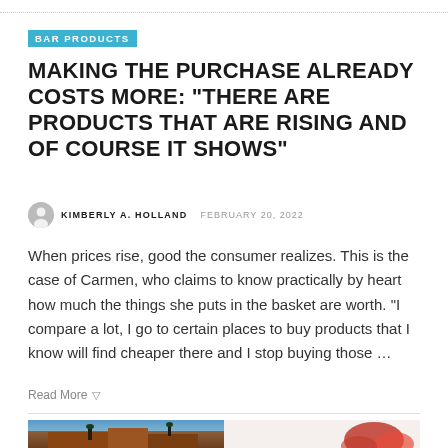BAR PRODUCTS
MAKING THE PURCHASE ALREADY COSTS MORE: “THERE ARE PRODUCTS THAT ARE RISING AND OF COURSE IT SHOWS”
KIMBERLY A. HOLLAND  FEBRUARY 20, 2022
When prices rise, good the consumer realizes. This is the case of Carmen, who claims to know practically by heart how much the things she puts in the basket are worth. “I compare a lot, I go to certain places to buy products that I know will find cheaper there and I stop buying those …
Read More ▷
[Figure (photo): Two photos side by side at the bottom of the page: left shows a building with trees against a blue sky, right shows a partial view on a light background.]